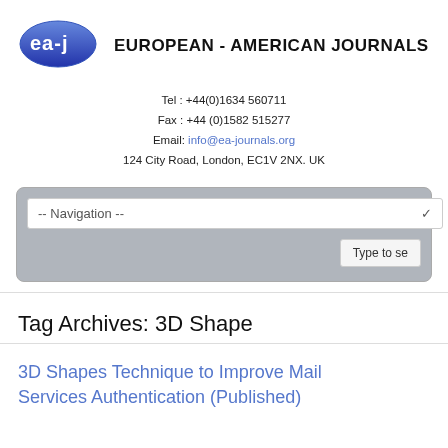[Figure (logo): European American Journals logo: blue oval with 'ea-j' text in white]
EUROPEAN - AMERICAN JOURNALS
Tel : +44(0)1634 560711
Fax : +44 (0)1582 515277
Email: info@ea-journals.org
124 City Road, London, EC1V 2NX. UK
-- Navigation --
Type to se
Tag Archives: 3D Shape
3D Shapes Technique to Improve Mail Services Authentication (Published)